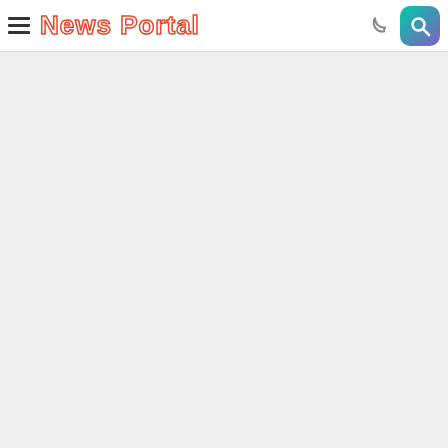News Portal
[Figure (screenshot): Main content area — large light gray empty background below the navigation header]